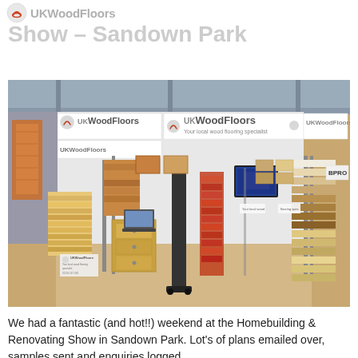UKWoodFloors
Show – Sandown Park
[Figure (photo): UKWoodFloors exhibition stand at the Homebuilding & Renovating Show in Sandown Park, showing multiple wood flooring sample displays, banners, a laptop, a monitor on a stand, and stacked flooring boxes in the foreground.]
We had a fantastic (and hot!!) weekend at the Homebuilding & Renovating Show in Sandown Park. Lot's of plans emailed over, samples sent and enquiries logged.